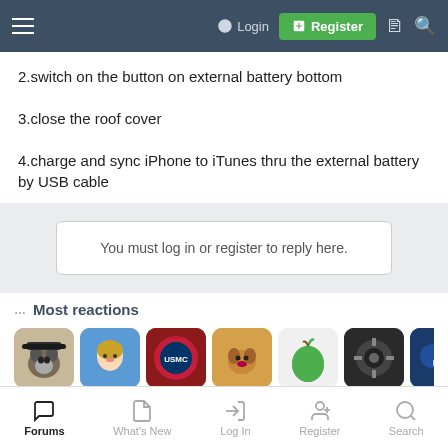Login | Register
2.switch on the button on external battery bottom
3.close the roof cover
4.charge and sync iPhone to iTunes thru the external battery by USB cable
You must log in or register to reply here.
Most reactions
[Figure (screenshot): Row of forum user avatar thumbnails/app icons]
Forums | What's New | Log In | Register | Search